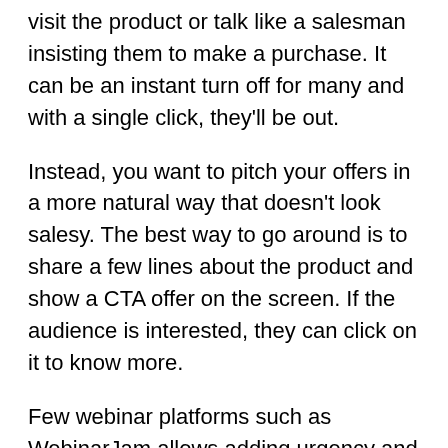visit the product or talk like a salesman insisting them to make a purchase. It can be an instant turn off for many and with a single click, they'll be out.
Instead, you want to pitch your offers in a more natural way that doesn't look salesy. The best way to go around is to share a few lines about the product and show a CTA offer on the screen. If the audience is interested, they can click on it to know more.
Few webinar platforms such as WebinarJam allows adding urgency and scarcity elements to offers. This way, the audience is more likely to click due to FOMO (fear of missing out)
However, don't be repetitive and throw CTA offers on the screen without giving a context. In our experience, we found that pitching offers and asking participants to